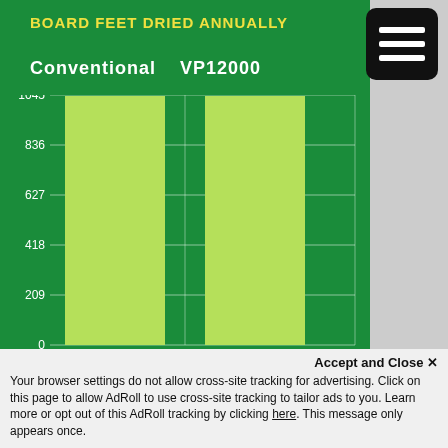BOARD FEET DRIED ANNUALLY
Conventional   VP12000
[Figure (bar-chart): Board Feet Dried Annually]
Accept and Close ✕
Your browser settings do not allow cross-site tracking for advertising. Click on this page to allow AdRoll to use cross-site tracking to tailor ads to you. Learn more or opt out of this AdRoll tracking by clicking here. This message only appears once.